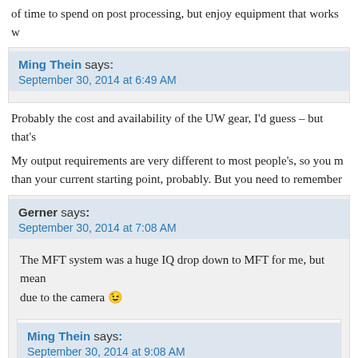of time to spend on post processing, but enjoy equipment that works w
Ming Thein says:
September 30, 2014 at 6:49 AM
Probably the cost and availability of the UW gear, I'd guess – but that's
My output requirements are very different to most people's, so you m than your current starting point, probably. But you need to remember
Gerner says:
September 30, 2014 at 7:08 AM
The MFT system was a huge IQ drop down to MFT for me, but mean due to the camera 😉
Ming Thein says:
September 30, 2014 at 9:08 AM
Shot technique can always be learned, but the eye is more difficul